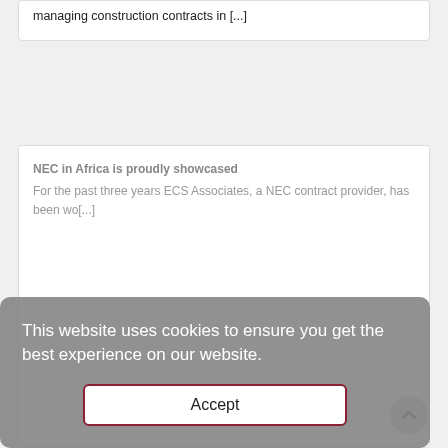managing construction contracts in [...]
NEC in Africa is proudly showcased
For the past three years ECS Associates, a NEC contract provider, has been wo[...]
This website uses cookies to ensure you get the best experience on our website.
Accept